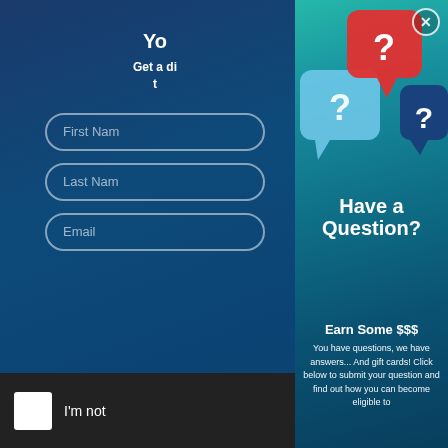Yo
Get a di t
First Nam
Last Nam
Email
I'm not
[Figure (illustration): Three speech bubble icons with question marks - light blue, red, and dark blue]
Have a Question?
Earn Some $$$
You have questions, we have answers... And gift cards! Click below to submit your question and find out how you can become eligible to